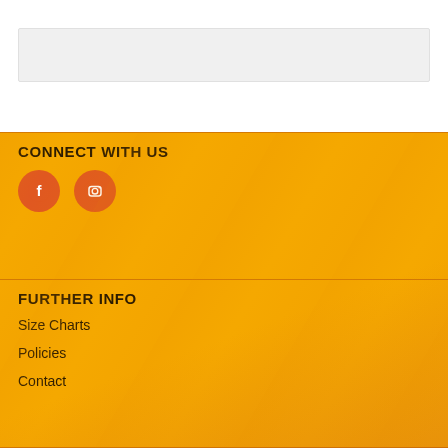[Figure (other): Light gray search bar / input field placeholder at top of page]
CONNECT WITH US
[Figure (other): Two circular orange social media icons: Facebook (f) and Instagram (camera)]
FURTHER INFO
Size Charts
Policies
Contact
NEWSLETTER